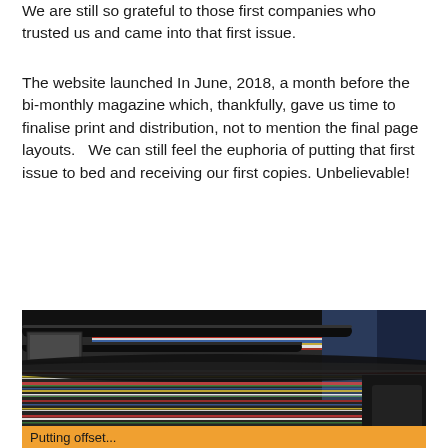We are still so grateful to those first companies who trusted us and came into that first issue.
The website launched In June, 2018, a month before the bi-monthly magazine which, thankfully, gave us time to finalise print and distribution, not to mention the final page layouts.   We can still feel the euphoria of putting that first issue to bed and receiving our first copies. Unbelievable!
[Figure (photo): A high-speed printing press with colorful paper/pages moving rapidly through large rollers, showing motion blur of colorful streaks — red, yellow, green, blue — representing magazine printing in action.]
Putting offset...